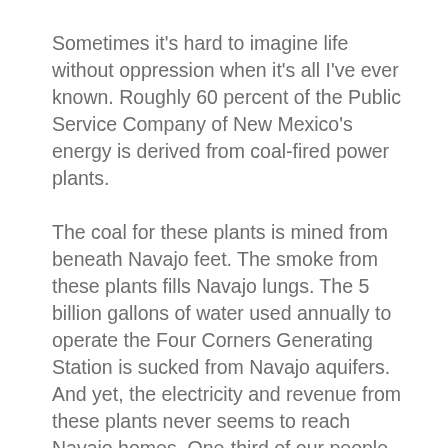Sometimes it's hard to imagine life without oppression when it's all I've ever known. Roughly 60 percent of the Public Service Company of New Mexico's energy is derived from coal-fired power plants.
The coal for these plants is mined from beneath Navajo feet. The smoke from these plants fills Navajo lungs. The 5 billion gallons of water used annually to operate the Four Corners Generating Station is sucked from Navajo aquifers. And yet, the electricity and revenue from these plants never seems to reach Navajo homes. One-third of our people lack electricity, even when the power lines drift overhead for miles on end